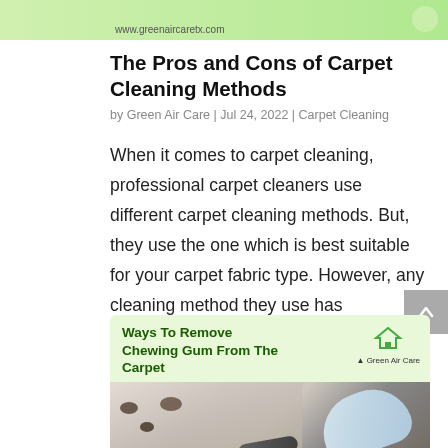[Figure (screenshot): Top banner with green background showing website URL www.greenaircaretx.com]
The Pros and Cons of Carpet Cleaning Methods
by Green Air Care | Jul 24, 2022 | Carpet Cleaning
When it comes to carpet cleaning, professional carpet cleaners use different carpet cleaning methods. But, they use the one which is best suitable for your carpet fabric type. However, any cleaning method they use has advantages and disadvantages. We can mainly...
[Figure (screenshot): Card showing 'Ways To Remove Chewing Gum From The Carpet' with Green Air Care logo and a photo of gloved hand removing gum from carpet]